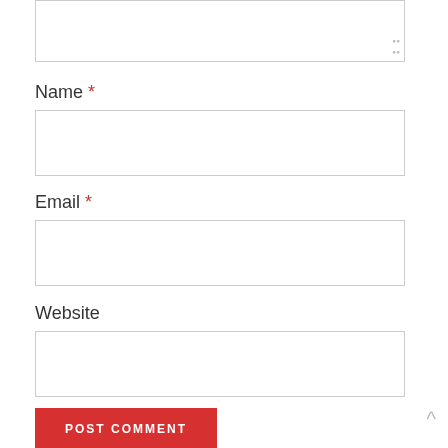[Figure (screenshot): Top portion of a web comment form showing a textarea input box (partially visible at top) with a resize handle in bottom-right corner.]
Name *
[Figure (screenshot): Name input field - empty text input box with light gray border.]
Email *
[Figure (screenshot): Email input field - empty text input box with light gray border.]
Website
[Figure (screenshot): Website input field - empty text input box with light gray border.]
[Figure (screenshot): POST COMMENT button - red/crimson button with white uppercase text.]
Notify me of new comments via email.
Notify me of new posts via email.